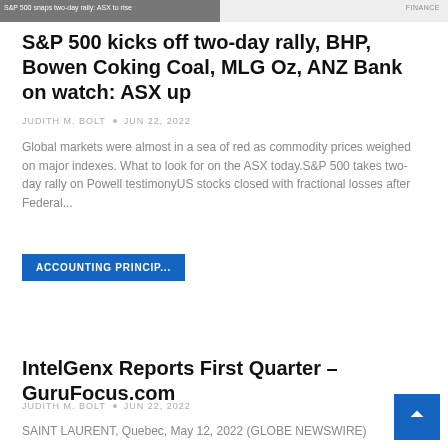[Figure (screenshot): Partially visible news article image bar showing text 'S&P 500 snaps two-day rally: ASX to rise' with label 'FINANCE' on the right]
S&P 500 kicks off two-day rally, BHP, Bowen Coking Coal, MLG Oz, ANZ Bank on watch: ASX up
JUDITH M. BOLT • Jun 22, 2022
Global markets were almost in a sea of red as commodity prices weighed on major indexes. What to look for on the ASX today.S&P 500 takes two-day rally on Powell testimonyUS stocks closed with fractional losses after Federal...
ACCOUNTING PRINCIP...
IntelGenx Reports First Quarter – GuruFocus.com
JUDITH M. BOLT • Jun 22, 2022
SAINT LAURENT, Quebec, May 12, 2022 (GLOBE NEWSWIRE) --